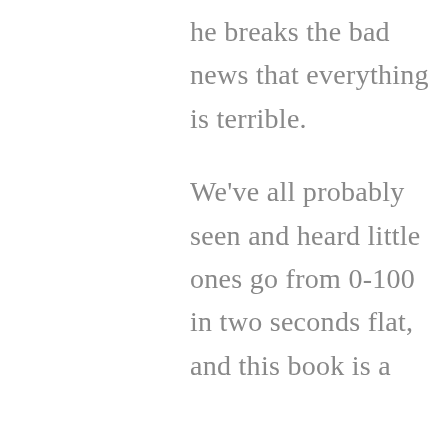he breaks the bad news that everything is terrible.

We've all probably seen and heard little ones go from 0-100 in two seconds flat, and this book is a